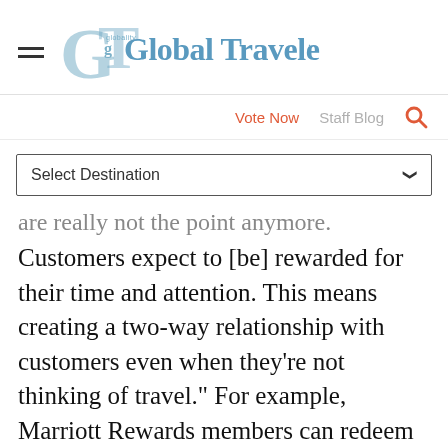[Figure (logo): Global Traveler magazine logo with stylized GT letters in blue and the text 'Global Traveler' in blue serif/sans font]
Vote Now   Staff Blog
Select Destination
are really not the point anymore. Customers expect to [be] rewarded for their time and attention. This means creating a two-way relationship with customers even when they're not thinking of travel." For example, Marriott Rewards members can redeem